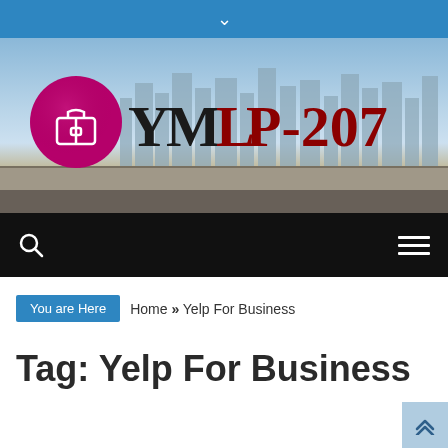▾
[Figure (logo): YMLP-207 website banner with city skyline background, magenta speech bubble with briefcase icon on left, and large YMLP-207 text on right]
Search | Menu
You are Here  Home » Yelp For Business
Tag: Yelp For Business